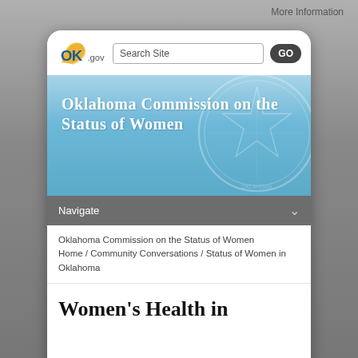More Information
[Figure (screenshot): OK.gov logo with search bar and GO button]
Oklahoma Commission on the Status of Women
Navigate
Oklahoma Commission on the Status of Women Home / Community Conversations / Status of Women in Oklahoma
Women's Health in